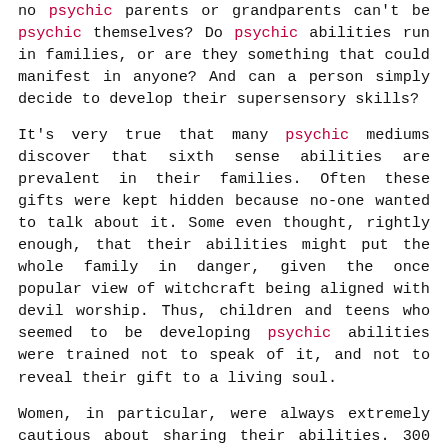no psychic parents or grandparents can't be psychic themselves? Do psychic abilities run in families, or are they something that could manifest in anyone? And can a person simply decide to develop their supersensory skills?
It's very true that many psychic mediums discover that sixth sense abilities are prevalent in their families. Often these gifts were kept hidden because no-one wanted to talk about it. Some even thought, rightly enough, that their abilities might put the whole family in danger, given the once popular view of witchcraft being aligned with devil worship. Thus, children and teens who seemed to be developing psychic abilities were trained not to speak of it, and not to reveal their gift to a living soul.
Women, in particular, were always extremely cautious about sharing their abilities. 300 years might seem like a long time ago, but accounts of witch trials still thread through family histories, both in the United States and throughout Europe. Even now, in certain African countries,